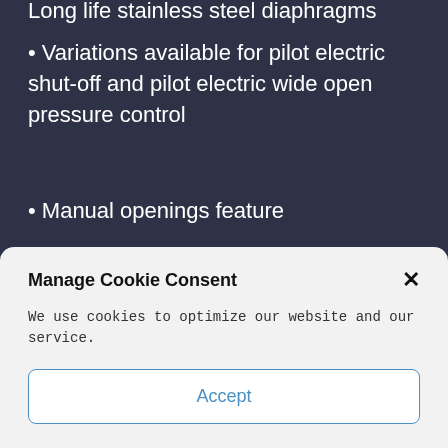Long life stainless steel diaphragms
• Variations available for pilot electric shut-off and pilot electric wide open pressure control
• Manual openings feature
• All service from the top
• [partially visible text]
Manage Cookie Consent
We use cookies to optimize our website and our service.
Accept